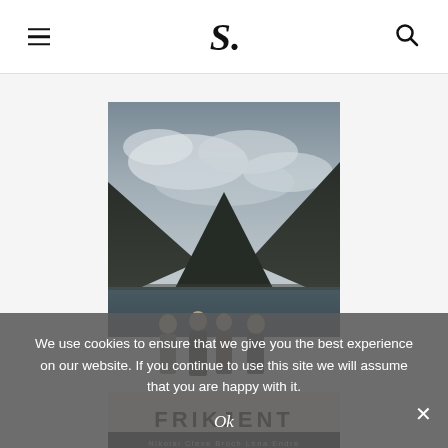S.
[Figure (photo): Movie poster for 'Frikjent' showing four actors standing in front of a dramatic Norwegian fjord landscape with mountains and cloudy sky. Text at bottom reads 'FRIKJENT' and actors' names including Nikolai Cleve Broch and Lena Endre.]
We use cookies to ensure that we give you the best experience on our website. If you continue to use this site we will assume that you are happy with it.
Ok